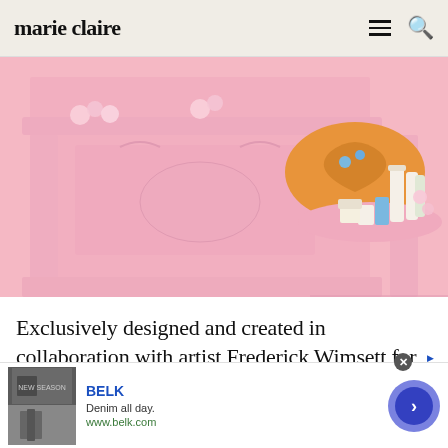marie claire
[Figure (photo): Pink ornate fireplace mantel with beauty/skincare products arranged on a side table to the right, including an orange heart-shaped box and various tubes and bottles, against a pink background with floral decorations]
Exclusively designed and created in collaboration with artist Frederick Wimsett for Sanctuary Spa, the hand-painted intricate
[Figure (other): Advertisement for BELK: 'Denim all day. www.belk.com' with navigation arrow button]